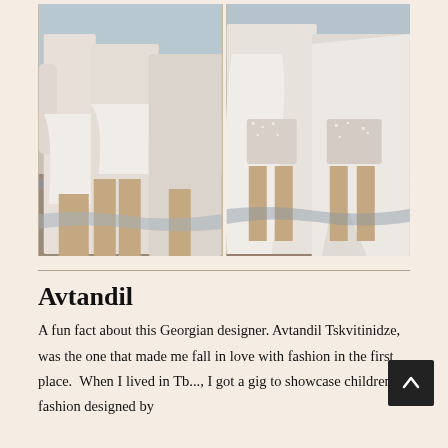[Figure (photo): Two fashion photos side by side of models wearing white bridal/couture outfits on a beach. Left photo shows three models from front/side, one in a long white flowing skirt and crop top with gloves, another in a short ruffled white outfit. Right photo shows models from behind wearing white sparkly shorts and a large white cape, standing at the water's edge.]
Avtandil
A fun fact about this Georgian designer. Avtandil Tskvitinidze, was the one that made me fall in love with fashion in the first place.  When I lived in Tb..., I got a gig to showcase children's fashion designed by